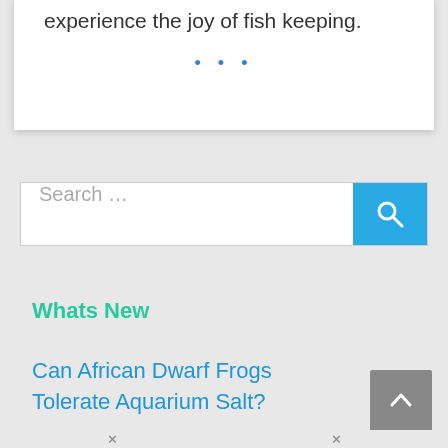experience the joy of fish keeping.
...
[Figure (screenshot): Search bar with text 'Search ...' and a blue search button with magnifying glass icon]
Whats New
Can African Dwarf Frogs Tolerate Aquarium Salt?